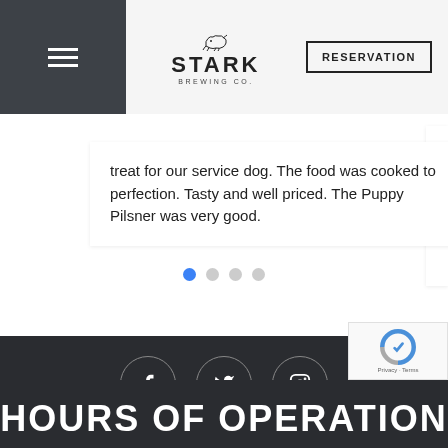Stark Brewing Co. — RESERVATION
treat for our service dog. The food was cooked to perfection. Tasty and well priced. The Puppy Pilsner was very good.
[Figure (infographic): Carousel navigation dots: one filled blue dot and three grey dots]
[Figure (infographic): Dark footer section with three social media icon circles: Facebook (f), Twitter (bird), Instagram (camera)]
HOURS OF OPERATION